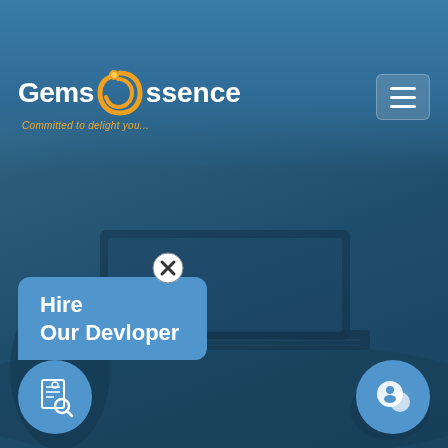[Figure (logo): GemsEssence logo with orange swirl E and tagline 'Committed to delight you']
[Figure (illustration): Hamburger menu icon button in top right corner]
[Figure (photo): Background blue-tinted photo of laptop on desk with hands typing]
[Figure (other): Close/X circle button above hire developer popup]
Hire Our Devloper
[Figure (illustration): Bottom left circular button with resume/search icon]
[Figure (illustration): Bottom right circular button with chat bubble icon]